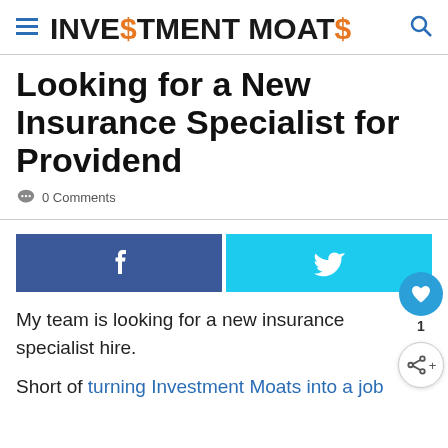INVESTMENT MOATS
Looking for a New Insurance Specialist for Providend
0 Comments
[Figure (other): Social share buttons: Facebook (f) button in dark blue and Twitter bird button in cyan blue]
My team is looking for a new insurance specialist hire.
Short of turning Investment Moats into a job